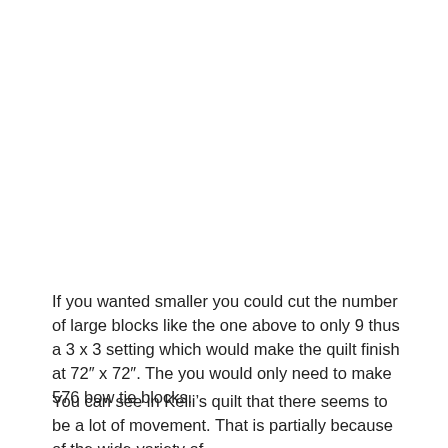If you wanted smaller you could cut the number of large blocks like the one above to only 9 thus a 3 x 3 setting which would make the quilt finish at 72″ x 72″. The you would only need to make 576 bow tie blocks.
You can see in Kelli's quilt that there seems to be a lot of movement.  That is partially because of the wide variety of